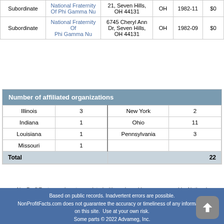|  | Name | Address | State | Established | Income |
| --- | --- | --- | --- | --- | --- |
| Subordinate | National Fraternity Of Phi Gamma Nu | 6745 Cheryl Ann Dr, Seven Hills, OH 44131 | OH | 1982-11 | $0 |
| Subordinate | National Fraternity Of Phi Gamma Nu | 6745 Cheryl Ann Dr, Seven Hills, OH 44131 | OH | 1982-09 | $0 |
| Number of affiliated organizations |  |
| --- | --- |
| Illinois | 3 | New York | 2 |
| Indiana | 1 | Ohio | 11 |
| Louisiana | 1 | Pennsylvania | 3 |
| Missouri | 1 |  |  |
| Total |  |  | 22 |
NonProfitFacts.com is not associated with, endorsed by, or sponsored by National Fraternity Of Phi Gamma Nu and has no official or unofficial affiliation with National Fraternity Of Phi Gamma Nu
Based on public records. Inadvertent errors are possible. NonProfitFacts.com does not guarantee the accuracy or timeliness of any information on this site. Use at your own risk. Some parts © 2022 Advameg, Inc.